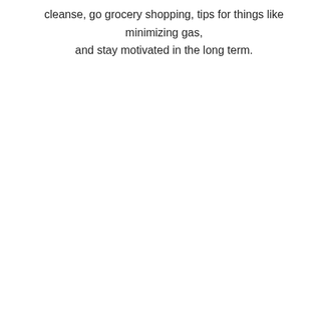cleanse, go grocery shopping, tips for things like minimizing gas, and stay motivated in the long term.